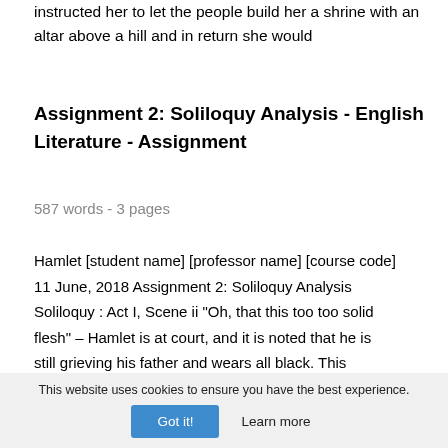instructed her to let the people build her a shrine with an altar above a hill and in return she would
Assignment 2: Soliloquy Analysis - English Literature - Assignment
587 words - 3 pages
Hamlet [student name] [professor name] [course code] 11 June, 2018 Assignment 2: Soliloquy Analysis Soliloquy : Act I, Scene ii "Oh, that this too too solid flesh" – Hamlet is at court, and it is noted that he is still grieving his father and wears all black. This
This website uses cookies to ensure you have the best experience.